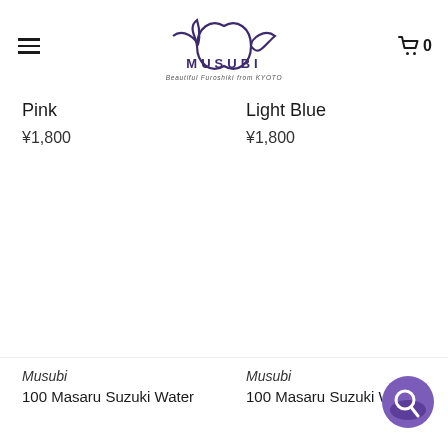[Figure (logo): Musubi Furoshiki brand logo with stylized wave/knot icon above text MUSUBI and tagline Beautiful Furoshiki from KYOTO]
Pink
¥1,800
Light Blue
¥1,800
Musubi
100 Masaru Suzuki Water
Musubi
100 Masaru Suzuki Water